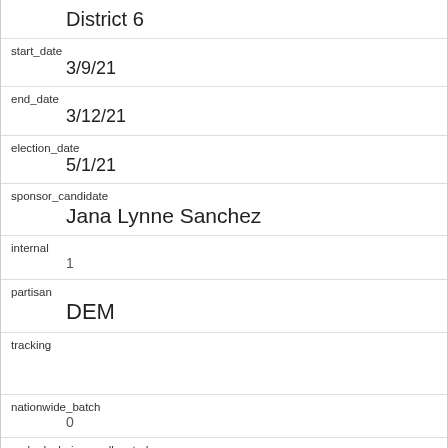| field | value |
| --- | --- |
|  | District 6 |
| start_date | 3/9/21 |
| end_date | 3/12/21 |
| election_date | 5/1/21 |
| sponsor_candidate | Jana Lynne Sanchez |
| internal | 1 |
| partisan | DEM |
| tracking |  |
| nationwide_batch | 0 |
| ranked_choice_reallocated | 0 |
| created_at |  |